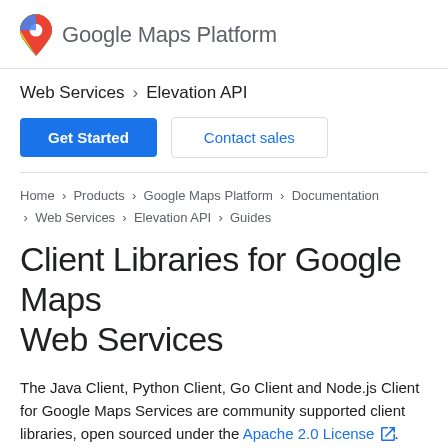Google Maps Platform
Web Services > Elevation API
Get Started | Contact sales
Home > Products > Google Maps Platform > Documentation > Web Services > Elevation API > Guides
Client Libraries for Google Maps Web Services
The Java Client, Python Client, Go Client and Node.js Client for Google Maps Services are community supported client libraries, open sourced under the Apache 2.0 License. They are available for download and contributions on GitHub, where you will also find installation instructions